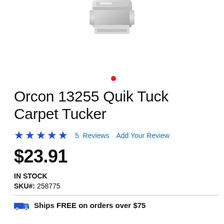[Figure (photo): Product image of Orcon Quik Tuck Carpet Tucker tool, partially visible at top of page, metallic/chrome colored tool]
Orcon 13255 Quik Tuck Carpet Tucker
★★★★★  5 Reviews  Add Your Review
$23.91
IN STOCK
SKU#: 258775
Ships FREE on orders over $75